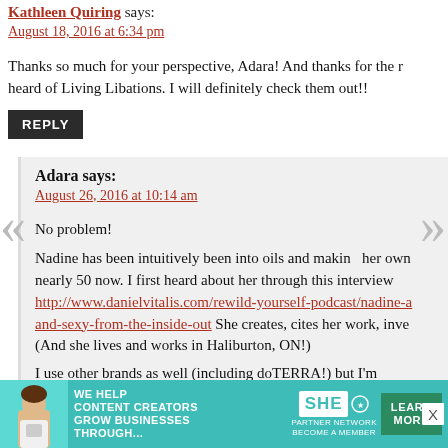Kathleen Quiring says:
August 18, 2016 at 6:34 pm
Thanks so much for your perspective, Adara! And thanks for the r... heard of Living Libations. I will definitely check them out!!
REPLY
Adara says:
August 26, 2016 at 10:14 am
No problem!
Nadine has been intuitively been into oils and making her own... nearly 50 now. I first heard about her through this interview http://www.danielvitalis.com/rewild-yourself-podcast/nadine-a... and-sexy-from-the-inside-out She creates, cites her work, inve... (And she lives and works in Haliburton, ON!)
I use other brands as well (including doTERRA!) but I'm
[Figure (infographic): SHE Partner Network advertisement banner with text: WE HELP CONTENT CREATORS GROW BUSINESSES THROUGH... with a LEARN MORE button]